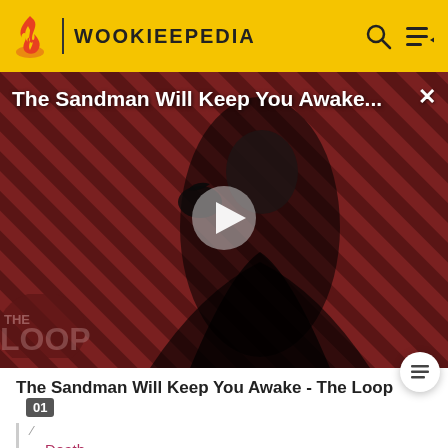WOOKIEEPEDIA
[Figure (screenshot): Video thumbnail showing a dark-cloaked figure against a diagonal stripe red/brown background, with a play button overlay and The Loop watermark. Title overlay reads: The Sandman Will Keep You Awake...]
The Sandman Will Keep You Awake - The Loop
Death
Death Star plans (Mentioned only)
Diamond (Mentioned only)
Diet